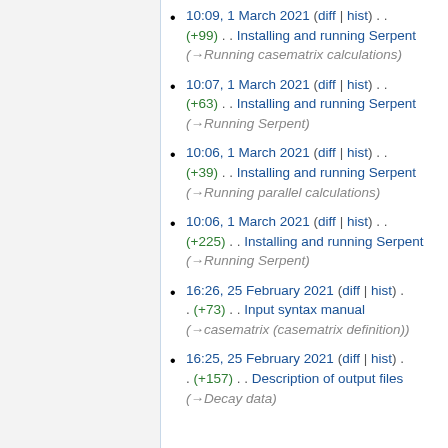10:09, 1 March 2021 (diff | hist) . . (+99) . . Installing and running Serpent (→Running casematrix calculations)
10:07, 1 March 2021 (diff | hist) . . (+63) . . Installing and running Serpent (→Running Serpent)
10:06, 1 March 2021 (diff | hist) . . (+39) . . Installing and running Serpent (→Running parallel calculations)
10:06, 1 March 2021 (diff | hist) . . (+225) . . Installing and running Serpent (→Running Serpent)
16:26, 25 February 2021 (diff | hist) . . (+73) . . Input syntax manual (→casematrix (casematrix definition))
16:25, 25 February 2021 (diff | hist) . . (+157) . . Description of output files (→Decay data)